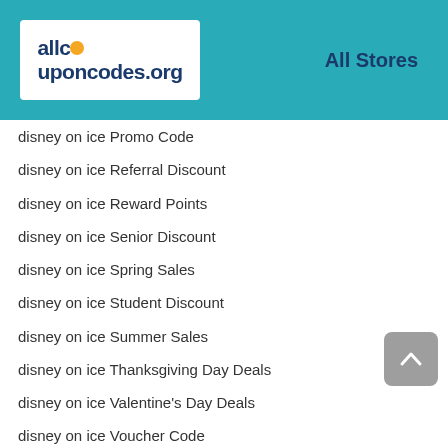[Figure (logo): allcouponcodes.org logo in white box on teal header background]
All Stores
disney on ice Promo Code
disney on ice Referral Discount
disney on ice Reward Points
disney on ice Senior Discount
disney on ice Spring Sales
disney on ice Student Discount
disney on ice Summer Sales
disney on ice Thanksgiving Day Deals
disney on ice Valentine's Day Deals
disney on ice Voucher Code
disney on ice Winter Sales
Popular Stores
qhemet biologics coupon code